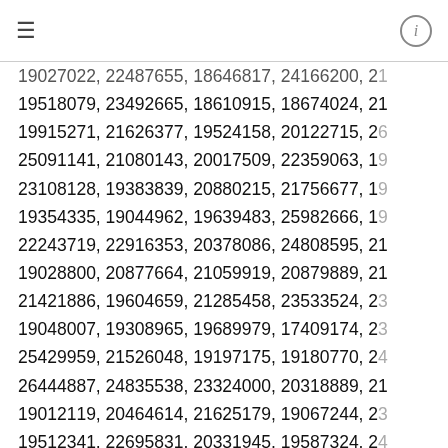≡  ⓘ
19027022, 22487655, 18646817, 24166200, 21...
19518079, 23492665, 18610915, 18674024, 21
19915271, 21626377, 19524158, 20122715, 26
25091141, 21080143, 20017509, 22359063, 19
23108128, 19383839, 20880215, 21756677, 19
19354335, 19044962, 19639483, 25982666, 19
22243719, 22916353, 20378086, 24808595, 21
19028800, 20877664, 21059919, 20879889, 21
21421886, 19604659, 21285458, 23533524, 23
19048007, 19308965, 19689979, 17409174, 23
25429959, 21526048, 19197175, 19180770, 24
26444887, 24835538, 23324000, 20318889, 21
19012119, 20464614, 21625179, 19067244, 23
19512341, 22695831, 20331945, 19587324, 24
19054077, 18674047, 19708632, 20898997, 19
25947799, 21133343, 20835241, 20869721, 21
17365043, 21419850, 21644640, 19468347, 21
24421668, 21164318, 25489607, 25484507, 22